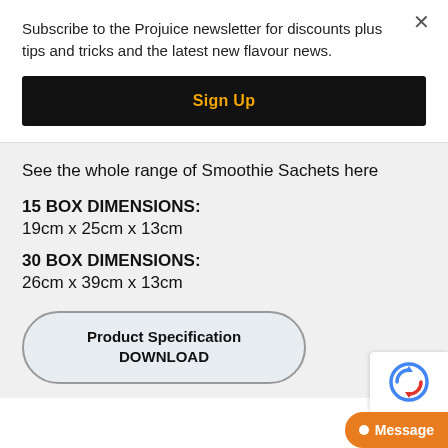Subscribe to the Projuice newsletter for discounts plus tips and tricks and the latest new flavour news.
Sign Up
See the whole range of Smoothie Sachets here
15 BOX DIMENSIONS: 19cm x 25cm x 13cm
30 BOX DIMENSIONS: 26cm x 39cm x 13cm
Product Specification DOWNLOAD